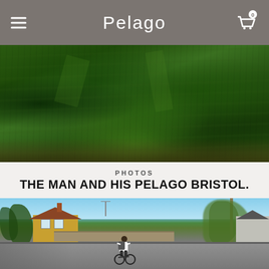Pelago
[Figure (photo): Close-up photo of dense green grass and vegetation viewed from above]
PHOTOS
THE MAN AND HIS PELAGO BRISTOL.
[Figure (photo): A person riding a bicycle on a quiet residential street with houses, trees and blue sky in background]